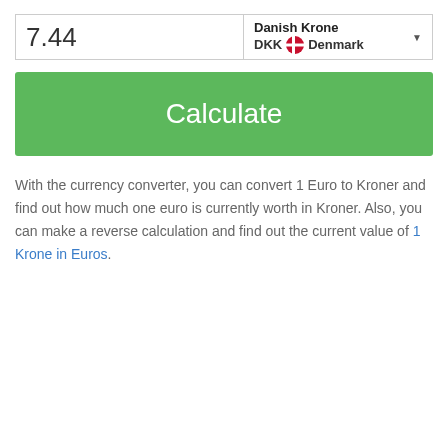7.44
Danish Krone DKK Denmark
Calculate
With the currency converter, you can convert 1 Euro to Kroner and find out how much one euro is currently worth in Kroner. Also, you can make a reverse calculation and find out the current value of 1 Krone in Euros.